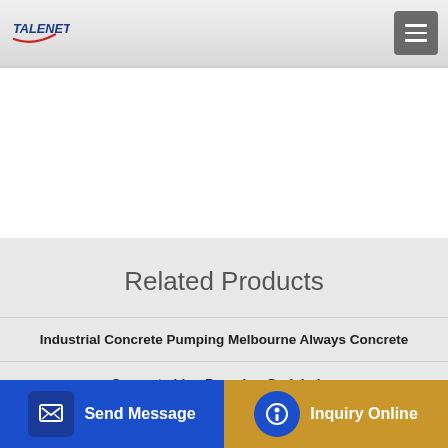TALENET
Related Products
Industrial Concrete Pumping Melbourne Always Concrete
Concrete Line Pumping Godalming
Concrete mixer truck used Mercedes Actros 3341 B 8x4
Send Message
Inquiry Online